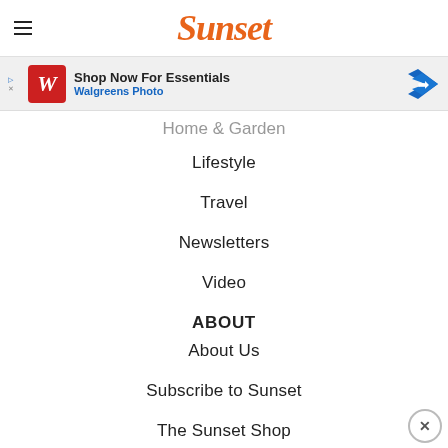Sunset
[Figure (screenshot): Walgreens Photo advertisement banner: Shop Now For Essentials, Walgreens Photo]
Home & Garden
Lifestyle
Travel
Newsletters
Video
ABOUT
About Us
Subscribe to Sunset
The Sunset Shop
The Sunset Plant Collection
Site Map